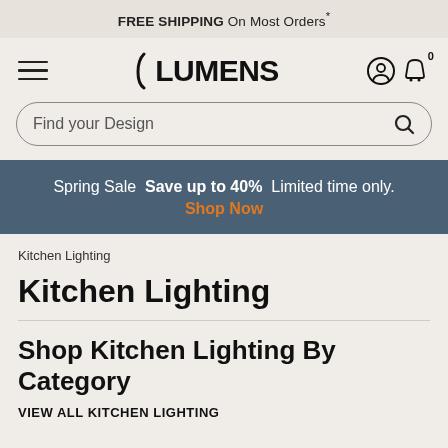FREE SHIPPING On Most Orders*
[Figure (logo): Lumens logo with hamburger menu, user icon, and cart icon showing 0 items]
Find your Design
Spring Sale  Save up to 40%  Limited time only.  Shop Now
Kitchen Lighting
Kitchen Lighting
Shop Kitchen Lighting By Category
VIEW ALL KITCHEN LIGHTING